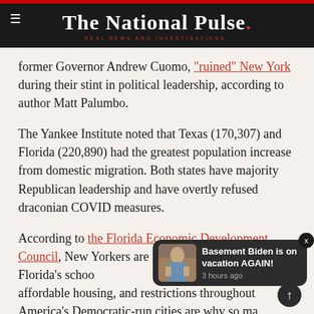The National Pulse. REAL NEWS AND INVESTIGATIONS.
former Governor Andrew Cuomo, "ruined" New York during their stint in political leadership, according to author Matt Palumbo.
The Yankee Institute noted that Texas (170,307) and Florida (220,890) had the greatest population increase from domestic migration. Both states have majority Republican leadership and have overtly refused draconian COVID measures.
According to the Florida Economic Development Council, New Yorkers are moving to Florida because Florida's schools rated higher from other states, affordable housing, and restrictions throughout America's Democratic-run cities are why so many...